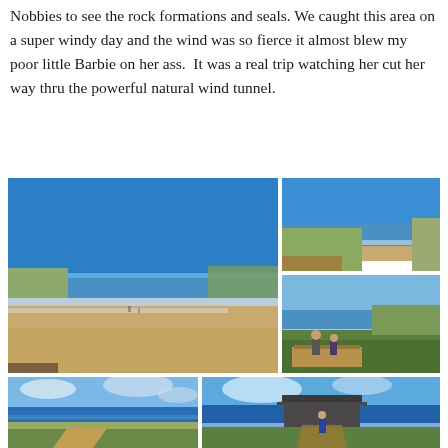Nobbies to see the rock formations and seals. We caught this area on a super windy day and the wind was so fierce it almost blew my poor little Barbie on her ass.  It was a real trip watching her cut her way thru the powerful natural wind tunnel.
[Figure (photo): Collage of five coastal beach photos showing sandy beach, ocean waves, blue sky, rocky headlands, and figures on a coastal path at The Nobbies area]